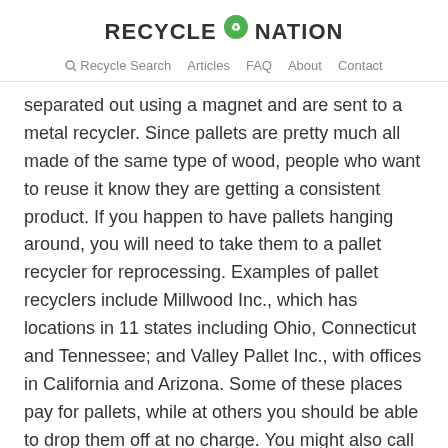RECYCLE NATION
Recycle Search   Articles   FAQ   About   Contact
separated out using a magnet and are sent to a metal recycler. Since pallets are pretty much all made of the same type of wood, people who want to reuse it know they are getting a consistent product. If you happen to have pallets hanging around, you will need to take them to a pallet recycler for reprocessing. Examples of pallet recyclers include Millwood Inc., which has locations in 11 states including Ohio, Connecticut and Tennessee; and Valley Pallet Inc., with offices in California and Arizona. Some of these places pay for pallets, while at others you should be able to drop them off at no charge. You might also call around and see if any nonprofits can